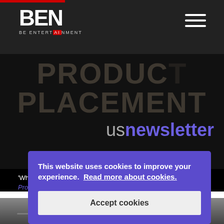BEN - BE ENTERTAINMENT
[Figure (logo): BEN logo with red accent on 'AI' in ENTERTAINMENT on dark background header]
[Figure (infographic): Hero image with large faded text reading PRODUCT PLACEMENT and 'us newsletter' text in white/purple on black background]
'What to Know' In Entertainment From August: Product Placement Newsletter
This website uses cookies to improve your experience. Read more about cookies.
Accept cookies